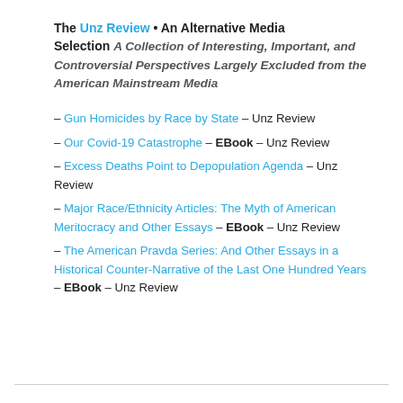The Unz Review • An Alternative Media Selection A Collection of Interesting, Important, and Controversial Perspectives Largely Excluded from the American Mainstream Media
– Gun Homicides by Race by State – Unz Review
– Our Covid-19 Catastrophe – EBook – Unz Review
– Excess Deaths Point to Depopulation Agenda – Unz Review
– Major Race/Ethnicity Articles: The Myth of American Meritocracy and Other Essays – EBook – Unz Review
– The American Pravda Series: And Other Essays in a Historical Counter-Narrative of the Last One Hundred Years – EBook – Unz Review